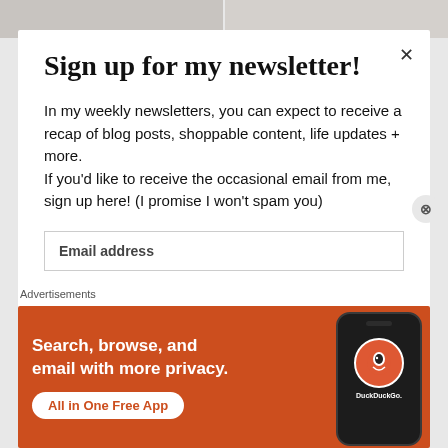[Figure (screenshot): Background photo strip at top of page showing two partially visible clothing/fashion photos side by side]
Sign up for my newsletter!
In my weekly newsletters, you can expect to receive a recap of blog posts, shoppable content, life updates + more. If you'd like to receive the occasional email from me, sign up here! (I promise I won't spam you)
Email address
Advertisements
[Figure (infographic): DuckDuckGo advertisement banner on orange/red background. Text reads: Search, browse, and email with more privacy. All in One Free App. Shows a smartphone with DuckDuckGo logo and branding.]